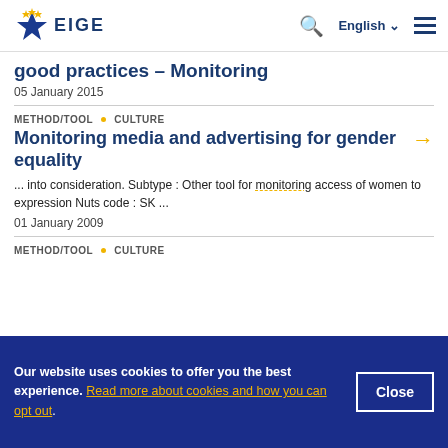EIGE | English
good practices – Monitoring
05 January 2015
METHOD/TOOL • CULTURE
Monitoring media and advertising for gender equality
... into consideration. Subtype : Other tool for monitoring access of women to expression Nuts code : SK ...
01 January 2009
METHOD/TOOL • CULTURE
Our website uses cookies to offer you the best experience. Read more about cookies and how you can opt out.